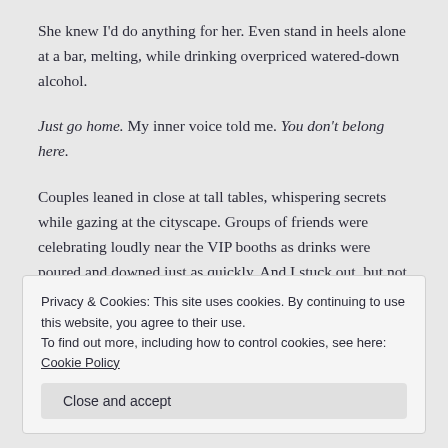She knew I'd do anything for her. Even stand in heels alone at a bar, melting, while drinking overpriced watered-down alcohol.
Just go home. My inner voice told me. You don't belong here.
Couples leaned in close at tall tables, whispering secrets while gazing at the cityscape. Groups of friends were celebrating loudly near the VIP booths as drinks were poured and downed just as quickly. And I stuck out, but not in a good way.
Privacy & Cookies: This site uses cookies. By continuing to use this website, you agree to their use. To find out more, including how to control cookies, see here: Cookie Policy
Close and accept